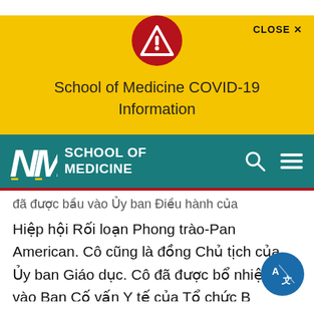CLOSE ✕
[Figure (illustration): Red circle with white triangle warning/alert icon]
School of Medicine COVID-19 Information
[Figure (logo): UNM School of Medicine logo on teal navigation bar with search and hamburger menu icons]
đã được bầu vào Ủy ban Điều hành của Hiệp hội Rối loạn Phong trào-Pan American. Cô cũng là đồng Chủ tịch của Ủy ban Giáo dục. Cô đã được bổ nhiệm vào Ban Cố vấn Y tế của Tổ chức B thất cơ tim lành tính và Tổ chức Nghiên